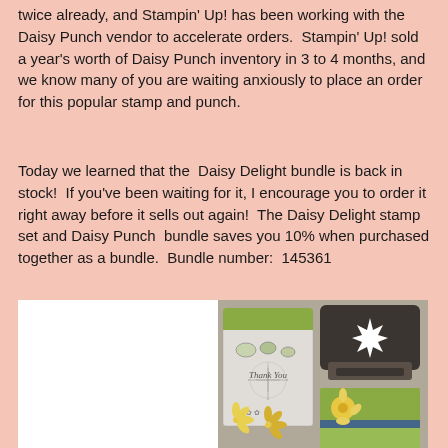twice already, and Stampin' Up! has been working with the Daisy Punch vendor to accelerate orders.  Stampin' Up! sold a year's worth of Daisy Punch inventory in 3 to 4 months, and we know many of you are waiting anxiously to place an order for this popular stamp and punch.
Today we learned that the  Daisy Delight bundle is back in stock!  If you've been waiting for it, I encourage you to order it right away before it sells out again!  The Daisy Delight stamp set and Daisy Punch  bundle saves you 10% when purchased together as a bundle.  Bundle number:  145361
[Figure (photo): Product photo of the Daisy Delight bundle showing a stamp set in clear packaging with floral designs and 'Thank You' text, a dark gray/brown punch tool with a white daisy star cutout, a green card with yellow daisy decoration, and two yellow daisy paper punches in the foreground, all on a gray background.]